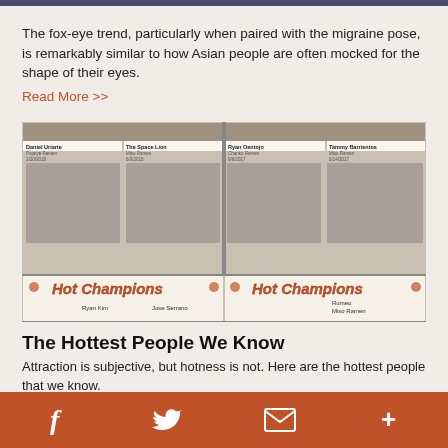The fox-eye trend, particularly when paired with the migraine pose, is remarkably similar to how Asian people are often mocked for the shape of their eyes.
Read More >>
[Figure (photo): A composite photo board showing restaurant 'Hot Champions' winners including Daniel Uriarte (Popeye Ramen, 3/20/2018), The Space Lion (Miso Ramen, 6/3/2018), Ryan Oentojo (Chanko Ramen, 9/6/2017), Tammy Barrientos (Miso Ramen, 6/14/2017), Ryan Kim, Jose Serrano, and Romeo (Miso Ramen).]
The Hottest People We Know
Attraction is subjective, but hotness is not. Here are the hottest people that we know.
Read More >>
f  [twitter]  [mail]  +